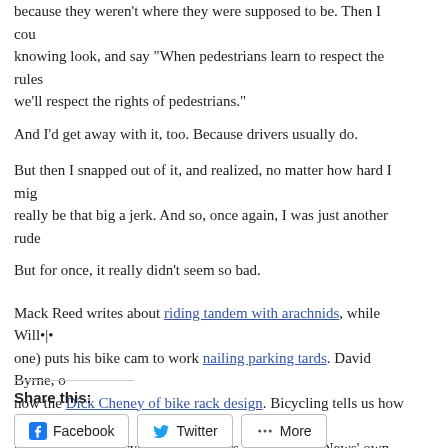because they weren't where they were supposed to be. Then I cou- knowing look, and say "When pedestrians learn to respect the rules we'll respect the rights of pedestrians."
And I'd get away with it, too. Because drivers usually do.
But then I snapped out of it, and realized, no matter how hard I mig- really be that big a jerk. And so, once again, I was just another rude
But for once, it really didn't seem so bad.
Mack Reed writes about riding tandem with arachnids, while Will•|• one) puts his bike cam to work nailing parking tards. David Byrne, o- now the Dick Cheney of bike rack design. Bicycling tells us how to conflicts between cyclists and drivers. Finally, VeloNews' own cycli- recaps the recent road rage incidents, including the good doctor's b- brake check and biker-on-biker violence in Portland.
Share this:
Facebook  Twitter  More